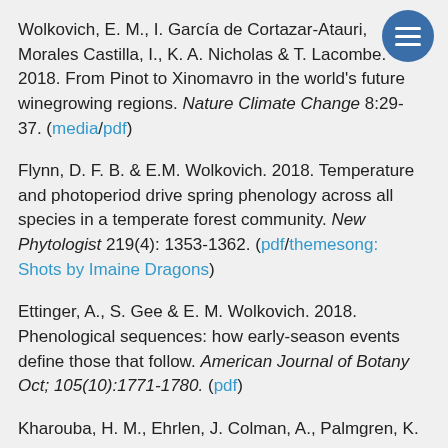Wolkovich, E. M., I. García de Cortazar-Atauri, Morales Castilla, I., K. A. Nicholas & T. Lacombe. 2018. From Pinot to Xinomavro in the world's future winegrowing regions. Nature Climate Change 8:29-37. (media/pdf)
Flynn, D. F. B. & E.M. Wolkovich. 2018. Temperature and photoperiod drive spring phenology across all species in a temperate forest community. New Phytologist 219(4): 1353-1362. (pdf/themesong: Shots by Imaine Dragons)
Ettinger, A., S. Gee & E. M. Wolkovich. 2018. Phenological sequences: how early-season events define those that follow. American Journal of Botany Oct; 105(10):1771-1780. (pdf)
Kharouba, H. M., Ehrlen, J. Colman, A., Palmgren, K.